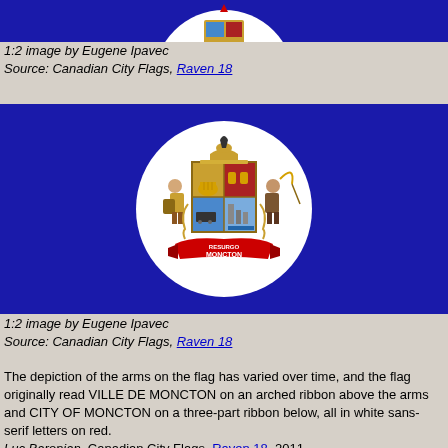[Figure (illustration): Top portion of a blue city flag with a white circular seal containing a coat of arms, partially cropped at the top of the page]
1:2 image by Eugene Ipavec
Source: Canadian City Flags, Raven 18
[Figure (illustration): Blue flag of Moncton with a large white circle in the center containing the city coat of arms showing two figures flanking a shield with various emblems, and a red ribbon reading RESURGO MONCTON at the bottom]
1:2 image by Eugene Ipavec
Source: Canadian City Flags, Raven 18
The depiction of the arms on the flag has varied over time, and the flag originally read VILLE DE MONCTON on an arched ribbon above the arms and CITY OF MONCTON on a three-part ribbon below, all in white sans-serif letters on red.
Luc Baronian, Canadian City Flags, Raven 18, 2011